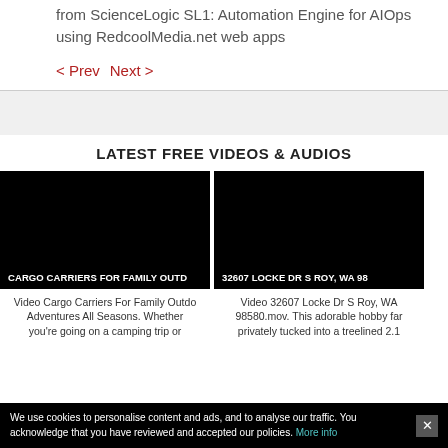from ScienceLogic SL1: Automation Engine for AIOps using RedcoolMedia.net web apps
< Prev  Next >
LATEST FREE VIDEOS & AUDIOS
[Figure (screenshot): Video thumbnail for CARGO CARRIERS FOR FAMILY OUTDOOR ADVENTURES - black background with white text label]
[Figure (screenshot): Video thumbnail for 32607 LOCKE DR S ROY, WA 98580 - black background with white text label]
Video Cargo Carriers For Family Outdoor Adventures All Seasons. Whether you're going on a camping trip or
Video 32607 Locke Dr S Roy, WA 98580.mov. This adorable hobby farm privately tucked into a treelined 2.1
We use cookies to personalise content and ads, and to analyse our traffic. You acknowledge that you have reviewed and accepted our policies.  More info